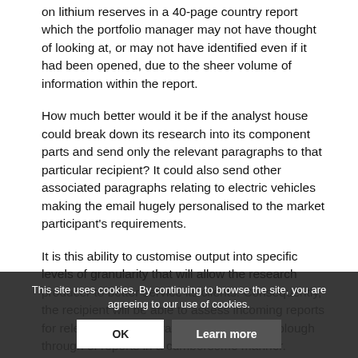on lithium reserves in a 40-page country report which the portfolio manager may not have thought of looking at, or may not have identified even if it had been opened, due to the sheer volume of information within the report.
How much better would it be if the analyst house could break down its research into its component parts and send only the relevant paragraphs to that particular recipient? It could also send other associated paragraphs relating to electric vehicles making the email hugely personalised to the market participant's requirements.
It is this ability to customise output into specific levels of granularity that will allow the research producer to better service its clients. Consequently, the recipient will be able to assess incoming reports for relevance quickly, rather than having to plough th... of reports in a cumbersome manner. Naturally, a tightened
This site uses cookies. By continuing to browse the site, you are agreeing to our use of cookies.